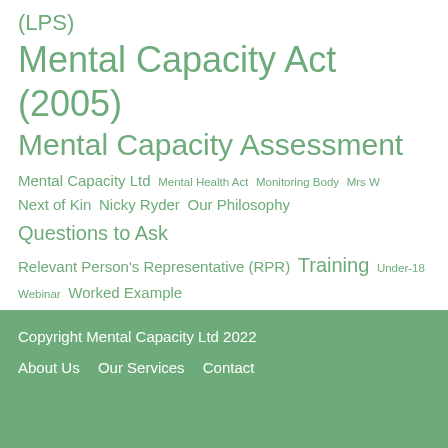(LPS)
Mental Capacity Act (2005)
Mental Capacity Assessment
Mental Capacity Ltd   Mental Health Act   Monitoring Body   Mrs W   Next of Kin   Nicky Ryder   Our Philosophy   Questions to Ask   Relevant Person's Representative (RPR)   Training   Under-18   Webinar   Worked Example
Copyright Mental Capacity Ltd 2022
About Us   Our Services   Contact